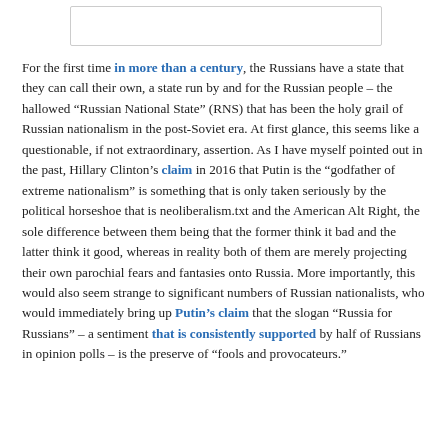[Figure (other): A white rectangular box with a border, likely an image placeholder at the top of the page.]
For the first time in more than a century, the Russians have a state that they can call their own, a state run by and for the Russian people – the hallowed “Russian National State” (RNS) that has been the holy grail of Russian nationalism in the post-Soviet era. At first glance, this seems like a questionable, if not extraordinary, assertion. As I have myself pointed out in the past, Hillary Clinton’s claim in 2016 that Putin is the “godfather of extreme nationalism” is something that is only taken seriously by the political horseshoe that is neoliberalism.txt and the American Alt Right, the sole difference between them being that the former think it bad and the latter think it good, whereas in reality both of them are merely projecting their own parochial fears and fantasies onto Russia. More importantly, this would also seem strange to significant numbers of Russian nationalists, who would immediately bring up Putin’s claim that the slogan “Russia for Russians” – a sentiment that is consistently supported by half of Russians in opinion polls – is the preserve of “fools and provocateurs.”